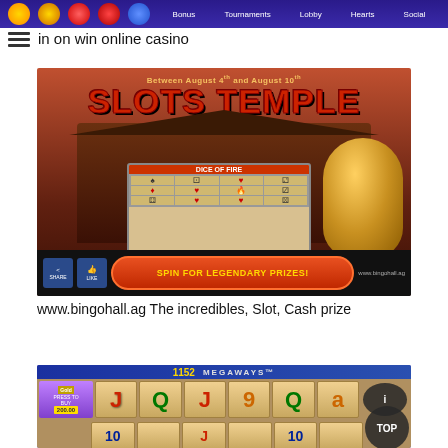[Figure (screenshot): Online casino app navigation bar with purple background showing icons and menu items: Bonus, Tournaments, Lobby, Hearts, Social]
in on win online casino
[Figure (screenshot): Slots Temple casino advertisement banner with Asian temple background, Buddha statue, slot machine reels, 'SPIN FOR LEGENDARY PRIZES!' button, and www.bingohall.ag URL. Text reads 'Between August 4th and August 10th']
www.bingohall.ag The incredibles, Slot, Cash prize
[Figure (screenshot): Slot machine game screenshot showing 1152 MEGAWAYS with colorful reels displaying J, Q, J, J, Q, A, 9, 10, 10 tiles. 'Gold' game with PRESS TO BUY 200.00. TOP button visible in bottom right.]